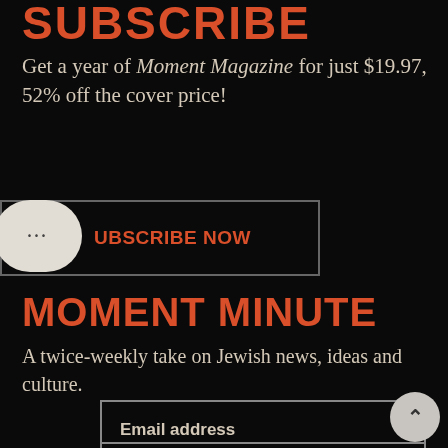SUBSCRIBE
Get a year of Moment Magazine for just $19.97, 52% off the cover price!
SUBSCRIBE NOW
MOMENT MINUTE
A twice-weekly take on Jewish news, ideas and culture.
Email address
First name